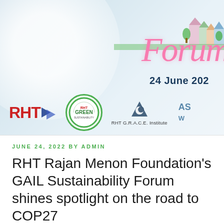[Figure (illustration): Banner image for RHT Rajan Menon Foundation GAIL Sustainability Forum. Light blue gradient background with blurred white circular shapes. Top right has a village/town illustration with colourful buildings and trees. Pink cursive 'Forum' script text overlaid. Date '24 June 202' visible. Bottom section shows logos: RHT (red text with blue arrows), RHT GREEN (green circle badge), RHT G.R.A.C.E. Institute (logo with crescent moon icon), and partial 'AS W' logo on far right.]
JUNE 24, 2022 BY ADMIN
RHT Rajan Menon Foundation's GAIL Sustainability Forum shines spotlight on the road to COP27